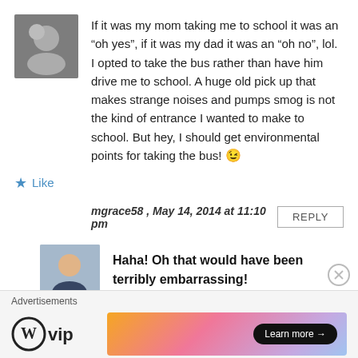If it was my mom taking me to school it was an “oh yes”, if it was my dad it was an “oh no”, lol. I opted to take the bus rather than have him drive me to school. A huge old pick up that makes strange noises and pumps smog is not the kind of entrance I wanted to make to school. But hey, I should get environmental points for taking the bus! 😉
Like
mgrace58 , May 14, 2014 at 11:10 pm
REPLY
Haha! Oh that would have been terribly embarrassing!
Advertisements
[Figure (logo): WordPress VIP logo (W circle + vip text)]
[Figure (infographic): Advertisement banner with gradient background (orange to pink to purple) and a Learn more arrow button]